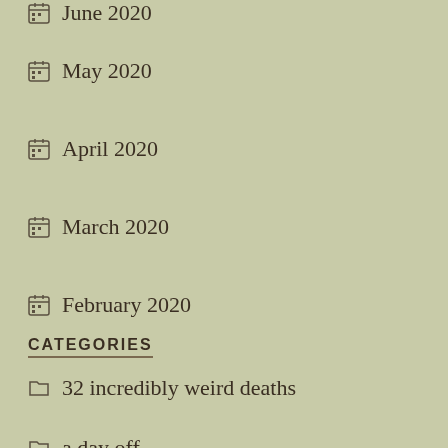June 2020
May 2020
April 2020
March 2020
February 2020
CATEGORIES
32 incredibly weird deaths
a day off